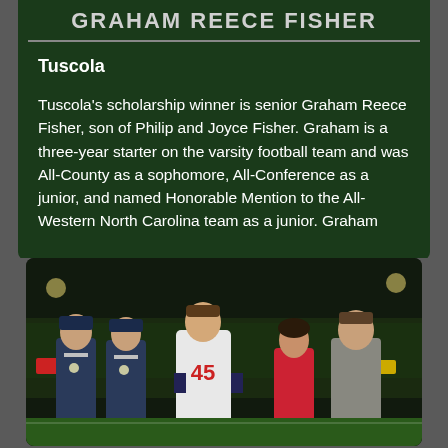GRAHAM REECE FISHER
Tuscola
Tuscola's scholarship winner is senior Graham Reece Fisher, son of Philip and Joyce Fisher. Graham is a three-year starter on the varsity football team and was All-County as a sophomore, All-Conference as a junior, and named Honorable Mention to the All-Western North Carolina team as a junior. Graham
[Figure (photo): Group photo on a football field at night: two men in Air Force uniforms on the left, a young man in a white football jersey with number 45 in the center, a woman in a red top, and a man in a gray shirt on the right, with a crowded stadium in the background.]